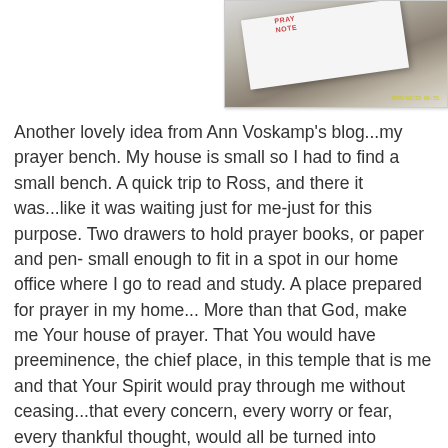[Figure (photo): A white prayer notebook photographed on a brown/granite surface, with red text reading 'PRAYER NOTEBOOK' on the cover. The notebook is angled slightly. A yellow timestamp is visible in the bottom right corner of the photo.]
Another lovely idea from Ann Voskamp's blog...my prayer bench. My house is small so I had to find a small bench. A quick trip to Ross, and there it was...like it was waiting just for me-just for this purpose. Two drawers to hold prayer books, or paper and pen- small enough to fit in a spot in our home office where I go to read and study. A place prepared for prayer in my home... More than that God, make me Your house of prayer. That You would have preeminence, the chief place, in this temple that is me and that Your Spirit would pray through me without ceasing...that every concern, every worry or fear, every thankful thought, would all be turned into prayer.